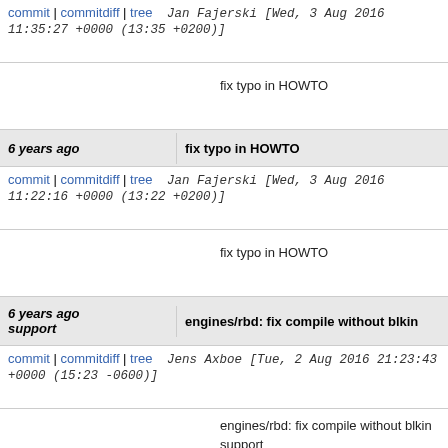commit | commitdiff | tree   Jan Fajerski [Wed, 3 Aug 2016 11:35:27 +0000 (13:35 +0200)]
fix typo in HOWTO
6 years ago   fix typo in HOWTO
commit | commitdiff | tree   Jan Fajerski [Wed, 3 Aug 2016 11:22:16 +0000 (13:22 +0200)]
fix typo in HOWTO
6 years ago   engines/rbd: fix compile without blkin support
commit | commitdiff | tree   Jens Axboe [Tue, 2 Aug 2016 21:23:43 +0000 (15:23 -0600)]
engines/rbd: fix compile without blkin support

If we don't have rbd-blkin support, compile fails with:

engines/rbd.c:21:26: error: field 'info' has incomple...
  struct blkin_trace_info info;
                         ^~~~
Makefile:313: recipe for target 'engines/rbd.o' faile...

Hide 'info' behind the ifdef...